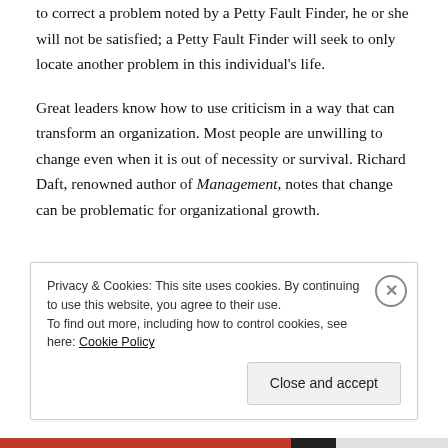to correct a problem noted by a Petty Fault Finder, he or she will not be satisfied; a Petty Fault Finder will seek to only locate another problem in this individual's life.
Great leaders know how to use criticism in a way that can transform an organization. Most people are unwilling to change even when it is out of necessity or survival. Richard Daft, renowned author of Management, notes that change can be problematic for organizational growth.
Privacy & Cookies: This site uses cookies. By continuing to use this website, you agree to their use.
To find out more, including how to control cookies, see here: Cookie Policy
Close and accept